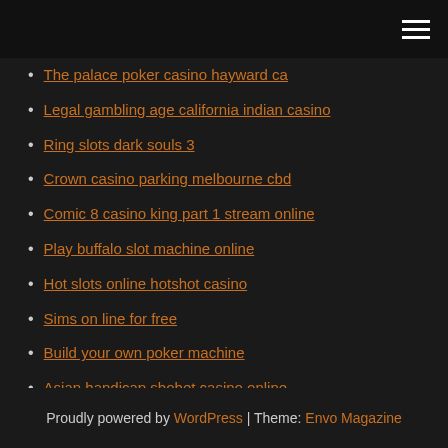[hamburger menu icon]
The palace poker casino hayward ca
Legal gambling age california indian casino
Ring slots dark souls 3
Crown casino parking melbourne cbd
Comic 8 casino king part 1 stream online
Play buffalo slot machine online
Hot slots online hotshot casino
Sims on line for free
Build your own poker machine
Asian handicap sbobet casino online
Fifi the cat poker blog
Proudly powered by WordPress | Theme: Envo Magazine